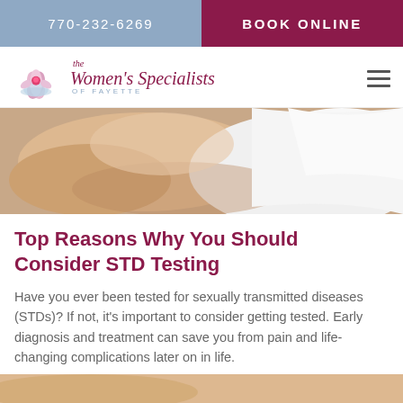770-232-6269 | BOOK ONLINE
[Figure (logo): The Women's Specialists of Fayette logo with lotus flower]
[Figure (photo): Close-up photo of a woman's hands/arms in bed with white linens]
Top Reasons Why You Should Consider STD Testing
Have you ever been tested for sexually transmitted diseases (STDs)? If not, it's important to consider getting tested. Early diagnosis and treatment can save you from pain and life-changing complications later on in life.
[Figure (photo): Partial photo at bottom of page]